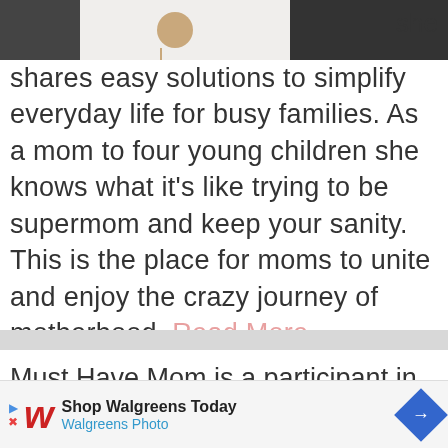[Figure (photo): Partial photo of people, cropped at top of page, with dark clothing and a necklace visible]
she shares easy solutions to simplify everyday life for busy families. As a mom to four young children she knows what it's like trying to be supermom and keep your sanity. This is the place for moms to unite and enjoy the crazy journey of motherhood. Read More...
Must Have Mom is a participant in the Amazon Services LLC Associates Pro...
[Figure (screenshot): Walgreens advertisement banner: Shop Walgreens Today, Walgreens Photo, with Walgreens W logo and blue diamond arrow icon]